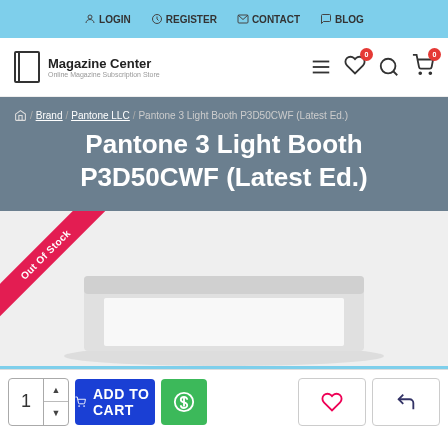LOGIN   REGISTER   CONTACT   BLOG
[Figure (logo): Magazine Center - Online Magazine Subscription Store logo with navigation icons (hamburger menu, wishlist, search, cart)]
/ Brand / Pantone LLC / Pantone 3 Light Booth P3D50CWF (Latest Ed.)
Pantone 3 Light Booth P3D50CWF (Latest Ed.)
[Figure (photo): Product photo of Pantone 3 Light Booth P3D50CWF on white/grey background with Out Of Stock ribbon banner in top-left corner]
1  ADD TO CART  [green dollar button]  [wishlist icon]  [return icon]